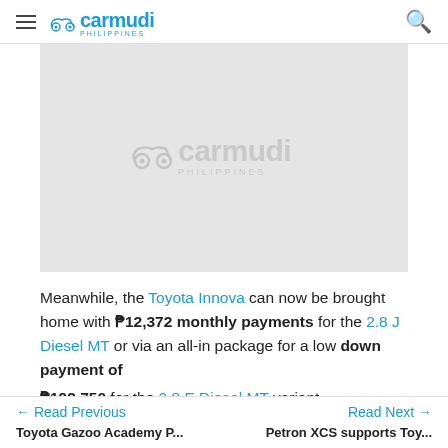carmudi PHILIPPINES
[Figure (logo): Carmudi Philippines watermark/placeholder image on grey background]
Meanwhile, the Toyota Innova can now be brought home with ₱12,372 monthly payments for the 2.8 J Diesel MT or via an all-in package for a low down payment of ₱192,750 for the 2.8 E Diesel MT variant.
← Read Previous | Read Next → | Toyota Gazoo Academy P... | Petron XCS supports Toy...